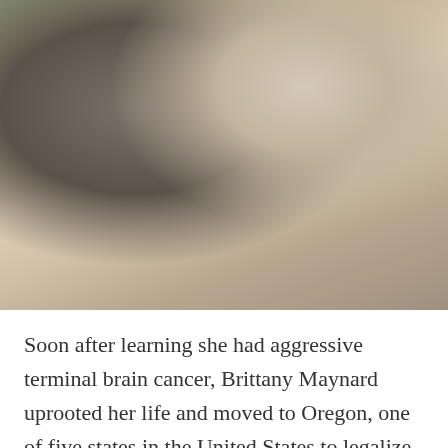[Figure (photo): A smiling young woman with dark hair holding a gray Great Dane puppy while sitting in a lounge chair outdoors. She is wearing a black and white striped top.]
Soon after learning she had aggressive terminal brain cancer, Brittany Maynard uprooted her life and moved to Oregon, one of five states in the United States to legalize assisted suicide. The other day, before her body had become